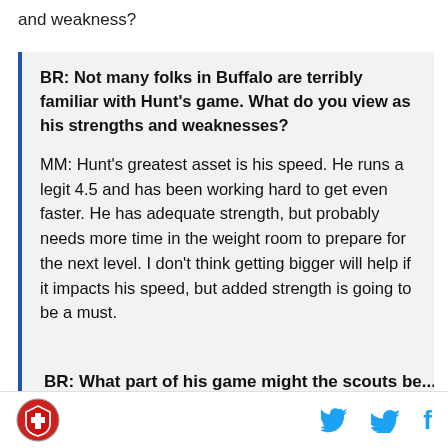and weakness?
BR: Not many folks in Buffalo are terribly familiar with Hunt's game. What do you view as his strengths and weaknesses?
MM: Hunt's greatest asset is his speed. He runs a legit 4.5 and has been working hard to get even faster. He has adequate strength, but probably needs more time in the weight room to prepare for the next level. I don't think getting bigger will help if it impacts his speed, but added strength is going to be a must.
BR: What part of his game might the scouts be...
[Figure (logo): Bleacher Report circular logo with red shield/medical cross design]
[Figure (logo): Twitter bird icon in cyan blue]
[Figure (logo): Facebook f icon in cyan blue]